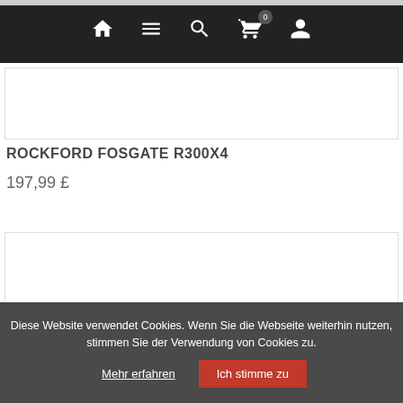Navigation bar with home, menu, search, cart (0), and user icons
[Figure (other): Product image placeholder box (top)]
ROCKFORD FOSGATE R300X4
197,99 £
[Figure (other): Product image placeholder box (bottom)]
Diese Website verwendet Cookies. Wenn Sie die Webseite weiterhin nutzen, stimmen Sie der Verwendung von Cookies zu.
Mehr erfahren   Ich stimme zu